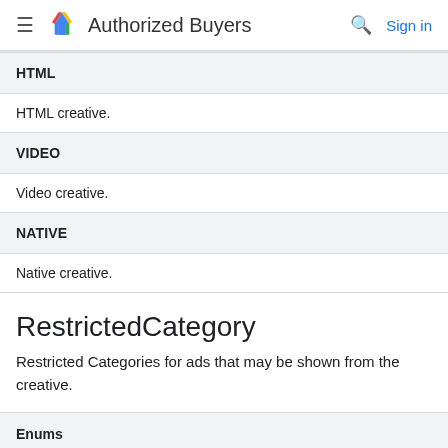Authorized Buyers  Sign in
| Enum | Description |
| --- | --- |
| HTML | HTML creative. |
| VIDEO | Video creative. |
| NATIVE | Native creative. |
RestrictedCategory
Restricted Categories for ads that may be shown from the creative.
| Enums |
| --- |